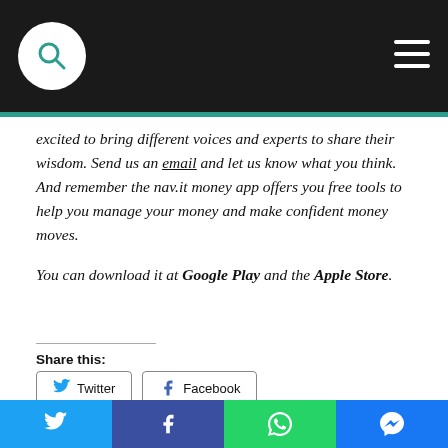Navigation bar with search icon and hamburger menu
excited to bring different voices and experts to share their wisdom. Send us an email and let us know what you think. And remember the nav.it money app offers you free tools to help you manage your money and make confident money moves.
You can download it at Google Play and the Apple Store.
Share this:
Twitter  Facebook
Like this:
Social share bar with Twitter, Facebook, WhatsApp, Messenger buttons